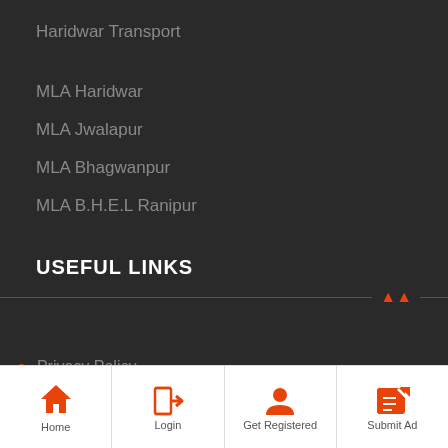Haridwar Transport
MLA Haridwar
MLA Jwalapur
MLA Bhagwanpur
MLA B.H.E.L Ranipur
USEFUL LINKS
Privacy Policy
Home | Login | Get Registered | Submit Ad